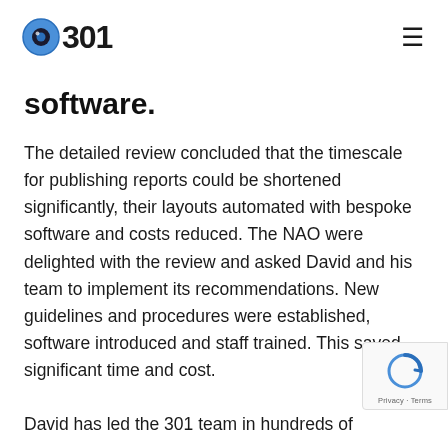301
software.
The detailed review concluded that the timescale for publishing reports could be shortened significantly, their layouts automated with bespoke software and costs reduced. The NAO were delighted with the review and asked David and his team to implement its recommendations. New guidelines and procedures were established, software introduced and staff trained. This saved significant time and cost.
David has led the 301 team in hundreds of